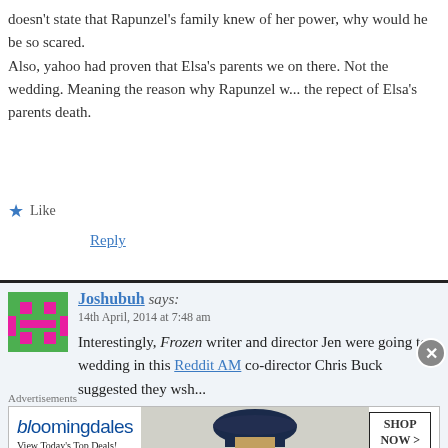doesn't state that Rapunzel's family knew of her power, why would he be so scared.
Also, yahoo had proven that Elsa's parents we on there. Not the wedding. Meaning the reason why Rapunzel w... the repect of Elsa's parents death.
★ Like
Reply
[Figure (illustration): Pixel art avatar icon: green background with pink pixel character]
Joshubuh says:
14th April, 2014 at 7:48 am
Interestingly, Frozen writer and director Jen... were going to a wedding in this Reddit AM... co-director Chris Buck suggested they wsh...
[Figure (screenshot): Bloomingdale's advertisement banner with woman in hat. 'View Today's Top Deals!' and 'SHOP NOW >' button.]